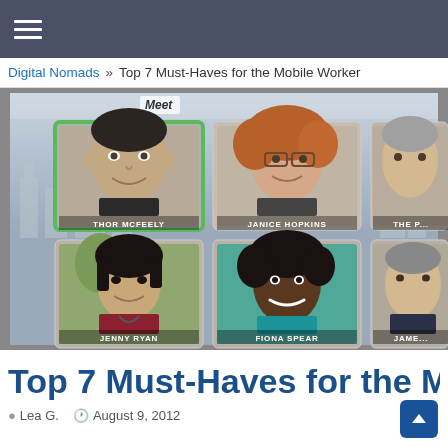Digital Nomads » Top 7 Must-Haves for the Mobile Worker
[Figure (screenshot): Screenshot of a Meet video conferencing application showing a grid of participants: Thor McFeely (active/highlighted with green border), Janice Hopkins, The P... (partially visible), Jenny Ryan, Fiona Spear, and Jame... (partially visible). The app shows a city skyline background.]
Top 7 Must-Haves for the Mobile
Lea G.  August 9, 2012